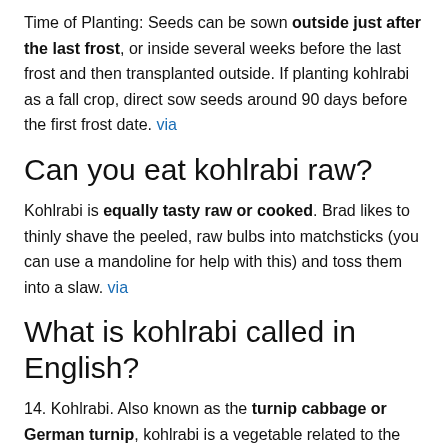Time of Planting: Seeds can be sown outside just after the last frost, or inside several weeks before the last frost and then transplanted outside. If planting kohlrabi as a fall crop, direct sow seeds around 90 days before the first frost date. via
Can you eat kohlrabi raw?
Kohlrabi is equally tasty raw or cooked. Brad likes to thinly shave the peeled, raw bulbs into matchsticks (you can use a mandoline for help with this) and toss them into a slaw. via
What is kohlrabi called in English?
14. Kohlrabi. Also known as the turnip cabbage or German turnip, kohlrabi is a vegetable related to the cabbage that can be eaten raw or cooked. via
Who invented kohlrabi?